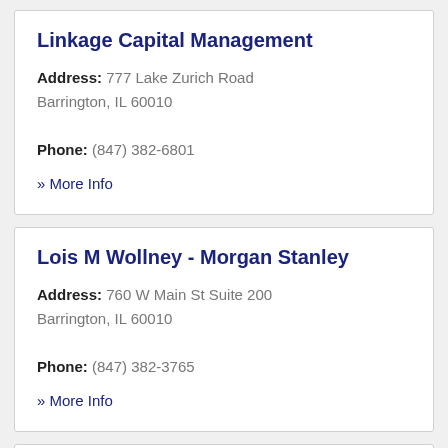Linkage Capital Management
Address: 777 Lake Zurich Road Barrington, IL 60010
Phone: (847) 382-6801
» More Info
Lois M Wollney - Morgan Stanley
Address: 760 W Main St Suite 200 Barrington, IL 60010
Phone: (847) 382-3765
» More Info
Louis D Greifenstein - Morgan Stanley